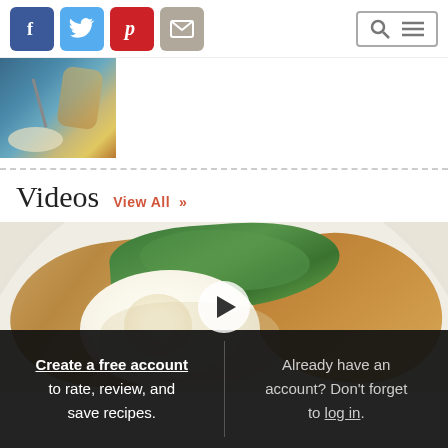Social share icons (Facebook, Twitter, Pinterest, Email) and search/menu buttons
[Figure (photo): Partial food photo showing a plate with food on a blue background, cropped at top]
Videos  View All >>
[Figure (photo): Video thumbnail showing a plate with poached egg on toast with green beans and hollandaise sauce, with a play button overlay]
Create a free account to rate, review, and save recipes.
Already have an account? Don't forget to log in.